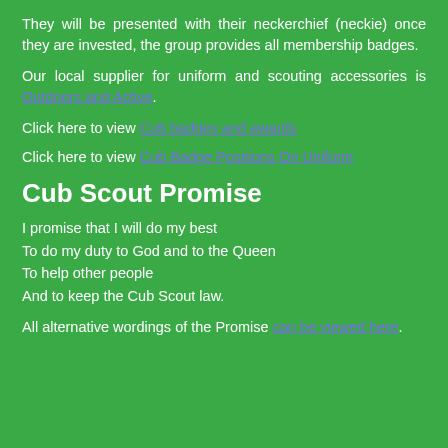They will be presented with their neckerchief (neckie) once they are invested, the group provides all membership badges.
Our local supplier for uniform and scouting accessories is Outdoors and Active.
Click here to view Cub badges and awards
Click here to view Cub Badge Positions On Uniform
Cub Scout Promise
I promise that I will do my best
To do my duty to God and to the Queen
To help other people
And to keep the Cub Scout law.
All alternative wordings of the Promise can be viewed here.